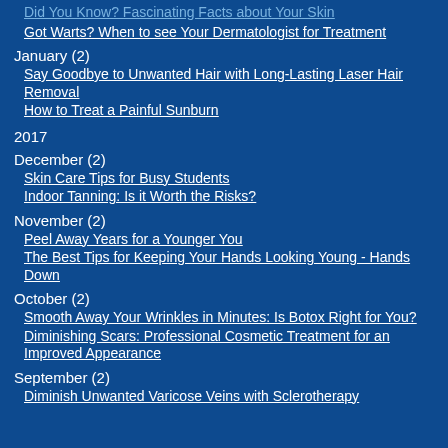Did You Know? Fascinating Facts about Your Skin
Got Warts? When to see Your Dermatologist for Treatment
January (2)
Say Goodbye to Unwanted Hair with Long-Lasting Laser Hair Removal
How to Treat a Painful Sunburn
2017
December (2)
Skin Care Tips for Busy Students
Indoor Tanning: Is it Worth the Risks?
November (2)
Peel Away Years for a Younger You
The Best Tips for Keeping Your Hands Looking Young - Hands Down
October (2)
Smooth Away Your Wrinkles in Minutes: Is Botox Right for You?
Diminishing Scars: Professional Cosmetic Treatment for an Improved Appearance
September (2)
Diminish Unwanted Varicose Veins with Sclerotherapy